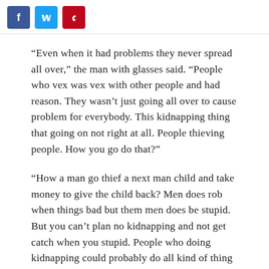Social share buttons: Facebook, Twitter, Pinterest
“Even when it had problems they never spread all over,” the man with glasses said. “People who vex was vex with other people and had reason. They wasn’t just going all over to cause problem for everybody. This kidnapping thing that going on not right at all. People thieving people. How you go do that?”
“How a man go thief a next man child and take money to give the child back? Men does rob when things bad but them men does be stupid. But you can’t plan no kidnapping and not get catch when you stupid. People who doing kidnapping could probably do all kind of thing with the brain them have but they doing wrong thing.”